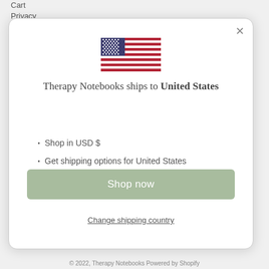Cart
Privacy
[Figure (illustration): US flag emoji/icon showing stars and stripes]
Therapy Notebooks ships to United States
Shop in USD $
Get shipping options for United States
Shop now
Change shipping country
© 2022, Therapy Notebooks Powered by Shopify